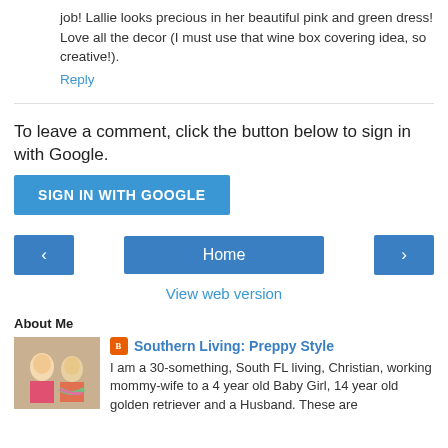job! Lallie looks precious in her beautiful pink and green dress! Love all the decor (I must use that wine box covering idea, so creative!).
Reply
To leave a comment, click the button below to sign in with Google.
SIGN IN WITH GOOGLE
‹
Home
›
View web version
About Me
[Figure (photo): Photo of two women smiling, one blonde and one with light hair, colorful scarf]
Southern Living: Preppy Style
I am a 30-something, South FL living, Christian, working mommy-wife to a 4 year old Baby Girl, 14 year old golden retriever and a Husband. These are